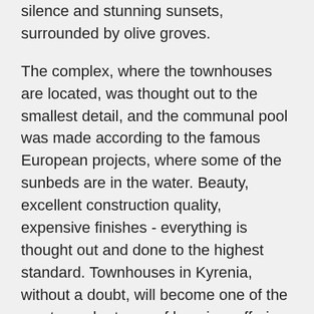silence and stunning sunsets, surrounded by olive groves.
The complex, where the townhouses are located, was thought out to the smallest detail, and the communal pool was made according to the famous European projects, where some of the sunbeds are in the water. Beauty, excellent construction quality, expensive finishes - everything is thought out and done to the highest standard. Townhouses in Kyrenia, without a doubt, will become one of the most popular types of housing, offering their owners the luxury of their own villas and the communal area of a well-kept complex.
Three bedroom townhouses offer a separate entrance and a private large garage. On the first floor there is a separate kitchen and living room, a large bathroom with shower, on the second - there are two bedrooms,